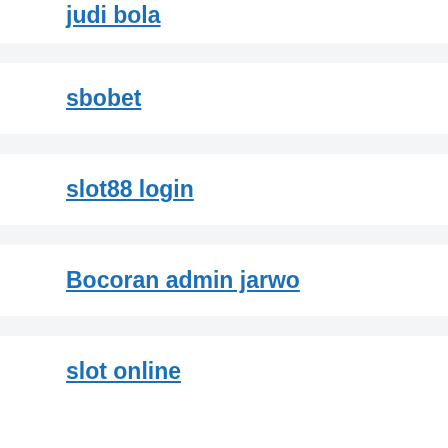judi bola
sbobet
slot88 login
Bocoran admin jarwo
slot online